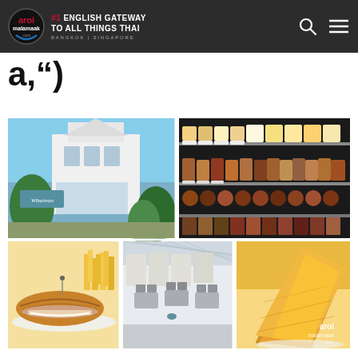aroi malamaak | #1 ENGLISH GATEWAY TO ALL THINGS THAI | BANGKOK | SINGAPORE
a,’’’)
[Figure (photo): Collage of 5 food and restaurant photos: top-left shows a white colonial-style building with 'Wibaiwan' sign; top-right shows a bakery/dessert display case with many cakes and sweets; bottom-left shows a croissant sandwich with fries; bottom-center shows a bright white interior dining room; bottom-right shows a golden cheese cake slice with aroi malamaak watermark]